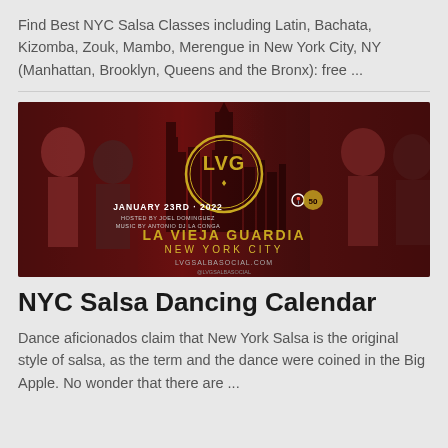Find Best NYC Salsa Classes including Latin, Bachata, Kizomba, Zouk, Mambo, Merengue in New York City, NY (Manhattan, Brooklyn, Queens and the Bronx): free ...
[Figure (photo): Promotional banner for La Vieja Guardia New York City salsa event on January 23rd 2022. Dark red themed banner with NYC skyline silhouette, LVG gold logo in center, dancers on left and right sides, text reading JANUARY 23RD 2022, HOSTED BY JOEL DOMINGUEZ, MUSIC BY ANTONIO DJ LA CONGA, LA VIEJA GUARDIA NEW YORK CITY, LVGSALBASOCIAL.COM]
NYC Salsa Dancing Calendar
Dance aficionados claim that New York Salsa is the original style of salsa, as the term and the dance were coined in the Big Apple. No wonder that there are ...